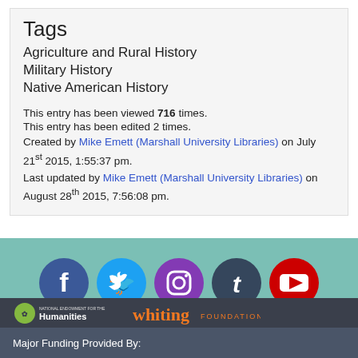Tags
Agriculture and Rural History
Military History
Native American History
This entry has been viewed 716 times.
This entry has been edited 2 times.
Created by Mike Emett (Marshall University Libraries) on July 21st 2015, 1:55:37 pm.
Last updated by Mike Emett (Marshall University Libraries) on August 28th 2015, 7:56:08 pm.
[Figure (infographic): Social media icons row: Facebook (blue), Twitter (teal), Instagram (purple), Tumblr (dark blue), YouTube (red) on green-teal background]
Major Funding Provided By: National Endowment for the Humanities | Whiting Foundation